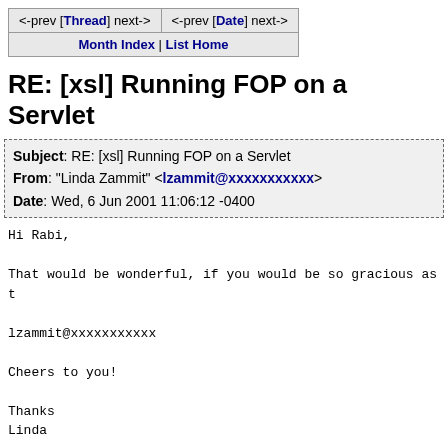| <-prev [Thread] next-> | <-prev [Date] next-> |
| Month Index | List Home |  |
RE: [xsl] Running FOP on a Servlet
| Subject: RE: [xsl] Running FOP on a Servlet |
| From: "Linda Zammit" <lzammit@xxxxxxxxxxx> |
| Date: Wed, 6 Jun 2001 11:06:12 -0400 |
Hi Rabi,

That would be wonderful, if you would be so gracious as t

lzammit@xxxxxxxxxxx

Cheers to you!

Thanks
Linda

-----Original Message-----
From: owner-xsl-list@xxxxxxxxxxxxxxxxxxxxx
[mailto:owner-xsl-list@xxxxxxxxxxxxxxxxxxxxx]On Behalf O
Sent: Wednesday, June 06, 2001 10:56 AM
To: xsl-list@xxxxxxxxxxxxxxxxxxxxx
Subject: RE: [xsl] Running FOP on a Servlet